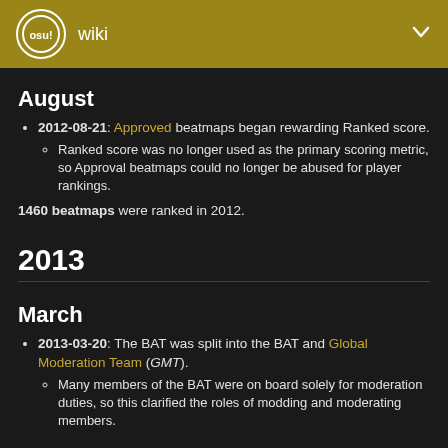osu! wiki
August
2012-08-21: Approved beatmaps began rewarding Ranked score.
Ranked score was no longer used as the primary scoring metric, so Approval beatmaps could no longer be abused for player rankings.
1460 beatmaps were ranked in 2012.
2013
March
2013-03-20: The BAT was split into the BAT and Global Moderation Team (GMT).
Many members of the BAT were on board solely for moderation duties, so this clarified the roles of modding and moderating members.